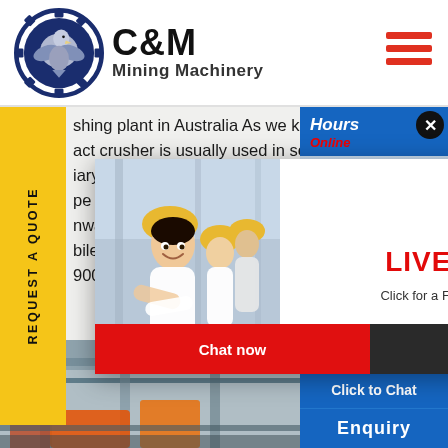[Figure (logo): C&M Mining Machinery logo with eagle in gear circle and text]
[Figure (infographic): Live chat popup overlay with photo of workers in hard hats, LIVE CHAT heading, Chat now and Chat later buttons]
shing plant in Australia As we know, mobile act crusher is usually used in secondary or iary cru... pe are w... nway, ra... bile imp... 9001
[Figure (photo): Customer service representative with headset on right side chat widget, Click to Chat button, Enquiry label]
[Figure (photo): Industrial machinery/mining plant photo at bottom of page]